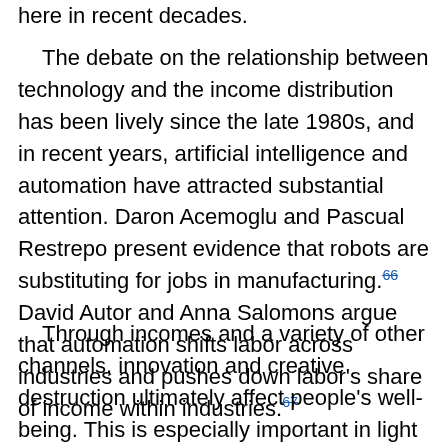here in recent decades.
The debate on the relationship between technology and the income distribution has been lively since the late 1980s, and in recent years, artificial intelligence and automation have attracted substantial attention. Daron Acemoglu and Pascual Restrepo present evidence that robots are substituting for jobs in manufacturing.66 David Autor and Anna Salomons argue that automation shifts labor across industries and pushes down labor's share of income within industries.67
Through incomes and a variety of other channels, innovation and creative destruction ultimately affect people's well-being. This is especially important in light of the evidence that, over recent years, certain groups in the population — most notably, white males in middle age — exhibited a significant deterioration in